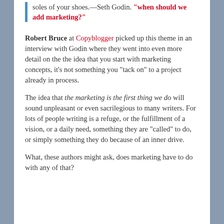soles of your shoes.—Seth Godin. "when should we add marketing?"
Robert Bruce at Copyblogger picked up this theme in an interview with Godin where they went into even more detail on the the idea that you start with marketing concepts, it's not something you "tack on" to a project already in process.
The idea that the marketing is the first thing we do will sound unpleasant or even sacrilegious to many writers. For lots of people writing is a refuge, or the fulfillment of a vision, or a daily need, something they are "called" to do, or simply something they do because of an inner drive.
What, these authors might ask, does marketing have to do with any of that?